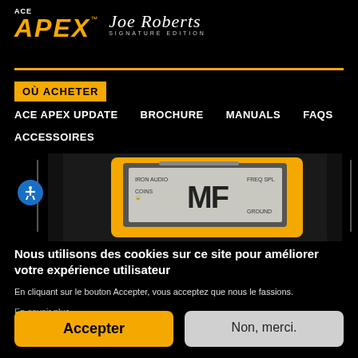[Figure (logo): ACE APEX Signature Edition logo with gold APEX text and cursive signature]
OÙ ACHETER
ACE APEX UPDATE
BROCHURE
MANUALS
FAQS
ACCESSOIRES
[Figure (photo): Close-up of ACE APEX metal detector control box display showing MF and various settings]
Nous utilisons des cookies sur ce site pour améliorer votre expérience utilisateur
En cliquant sur le bouton Accepter, vous acceptez que nous le fassions.
En savoir plus
Accepter
Non, merci.